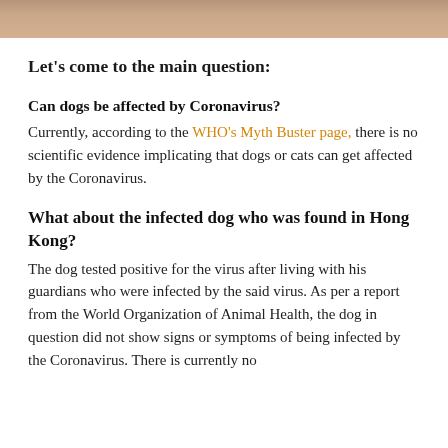[Figure (photo): Partial photo of a person, cropped at top of page, showing clothing/skin tones in beige/tan colors]
Let's come to the main question:
Can dogs be affected by Coronavirus?
Currently, according to the WHO's Myth Buster page, there is no scientific evidence implicating that dogs or cats can get affected by the Coronavirus.
What about the infected dog who was found in Hong Kong?
The dog tested positive for the virus after living with his guardians who were infected by the said virus. As per a report from the World Organization of Animal Health, the dog in question did not show signs or symptoms of being infected by the Coronavirus. There is currently no